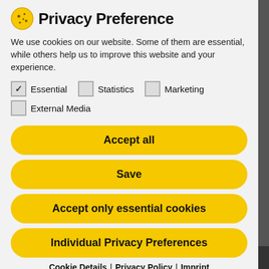Privacy Preference
We use cookies on our website. Some of them are essential, while others help us to improve this website and your experience.
Essential (checked), Statistics (unchecked), Marketing (unchecked)
External Media (unchecked)
Accept all
Save
Accept only essential cookies
Individual Privacy Preferences
Cookie Details | Privacy Policy | Imprint